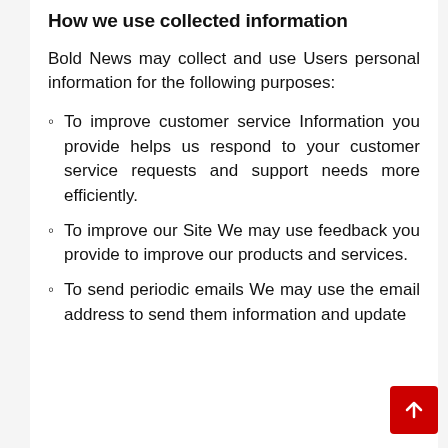How we use collected information
Bold News may collect and use Users personal information for the following purposes:
To improve customer service Information you provide helps us respond to your customer service requests and support needs more efficiently.
To improve our Site We may use feedback you provide to improve our products and services.
To send periodic emails We may use the email address to send them information and update